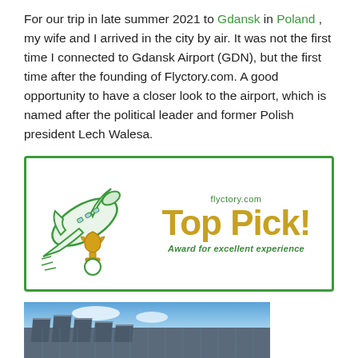For our trip in late summer 2021 to Gdansk in Poland , my wife and I arrived in the city by air. It was not the first time I connected to Gdansk Airport (GDN), but the first time after the founding of Flyctory.com. A good opportunity to have a closer look to the airport, which is named after the political leader and former Polish president Lech Walesa.
[Figure (illustration): Flyctory.com Top Pick! award badge with a cartoon airplane and trophy illustration on the left, and the text 'flyctory.com', 'Top Pick!' in large gold letters, and 'Award for excellent experience' in green italic text on the right. Surrounded by a green border.]
[Figure (photo): Photograph of Gdansk Airport exterior showing the modern glass and steel terminal building with distinctive angular roof fins against a blue sky with clouds.]